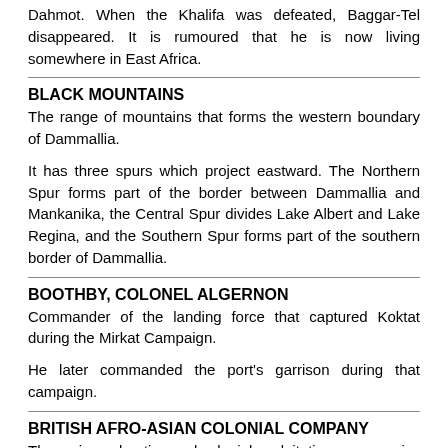Dahmot. When the Khalifa was defeated, Baggar-Tel disappeared. It is rumoured that he is now living somewhere in East Africa.
BLACK MOUNTAINS
The range of mountains that forms the western boundary of Dammallia.
It has three spurs which project eastward. The Northern Spur forms part of the border between Dammallia and Mankanika, the Central Spur divides Lake Albert and Lake Regina, and the Southern Spur forms part of the southern border of Dammallia.
BOOTHBY, COLONEL ALGERNON
Commander of the landing force that captured Koktat during the Mirkat Campaign.
He later commanded the port's garrison during that campaign.
BRITISH AFRO-ASIAN COLONIAL COMPANY
The main exploration and colonial exploitation company in